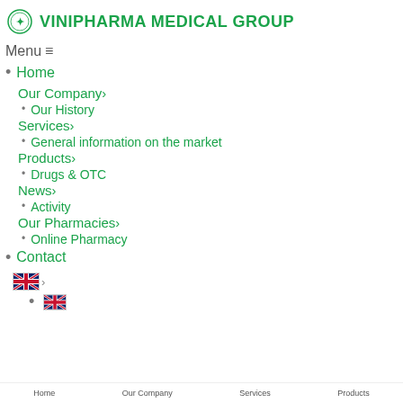[Figure (logo): Vinipharma Medical Group logo with green circular emblem and bold green text]
Menu≡
Home
Our Company›
Our History
Services›
General information on the market
Products›
Drugs & OTC
News›
Activity
Our Pharmacies›
Online Pharmacy
Contact
[Figure (other): UK flag icon with arrow - language selector]
UK flag icon - English language option
Home  Our Company  Services  Products